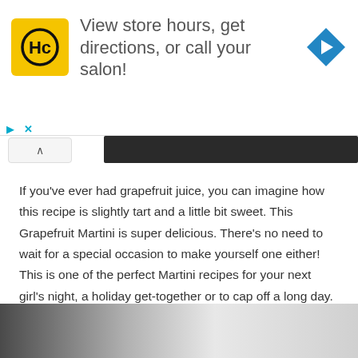[Figure (other): Advertisement banner: HC logo (yellow square with HC text), text 'View store hours, get directions, or call your salon!', blue diamond navigation arrow icon]
[Figure (photo): Dark textured image strip at top of content area, partially visible, with collapse/chevron button on left]
If you've ever had grapefruit juice, you can imagine how this recipe is slightly tart and a little bit sweet.  This Grapefruit Martini is super delicious. There's no need to wait for a special occasion to make yourself one either! This is one of the perfect Martini recipes for your next girl's night, a holiday get-together or to cap off a long day.
Get the recipe here.
12. Purple Martini
[Figure (photo): Bottom portion of a photo, partially visible, showing blurred dark object on left and light/cream background on right]